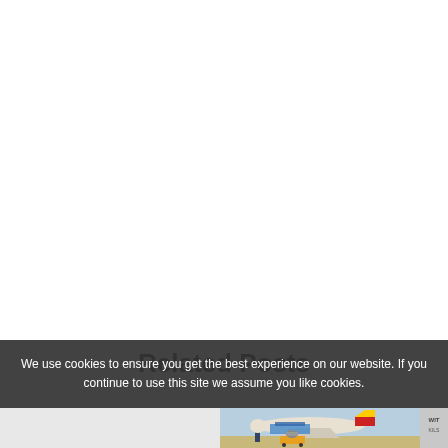We use cookies to ensure you get the best experience on our website. If you continue to use this site we assume you like cookies.
Related Posts
[Figure (photo): Cargo airplane being loaded with freight on an airport tarmac, with yellow ground support equipment visible.]